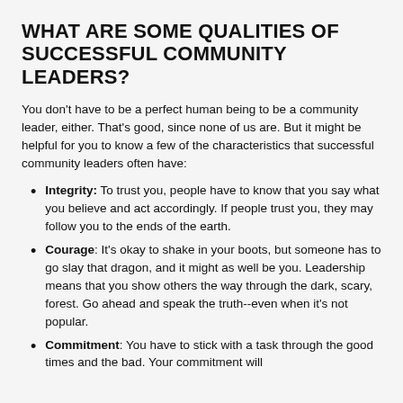WHAT ARE SOME QUALITIES OF SUCCESSFUL COMMUNITY LEADERS?
You don't have to be a perfect human being to be a community leader, either. That's good, since none of us are. But it might be helpful for you to know a few of the characteristics that successful community leaders often have:
Integrity: To trust you, people have to know that you say what you believe and act accordingly. If people trust you, they may follow you to the ends of the earth.
Courage: It's okay to shake in your boots, but someone has to go slay that dragon, and it might as well be you. Leadership means that you show others the way through the dark, scary, forest. Go ahead and speak the truth--even when it's not popular.
Commitment: You have to stick with a task through the good times and the bad. Your commitment will serve as a model.